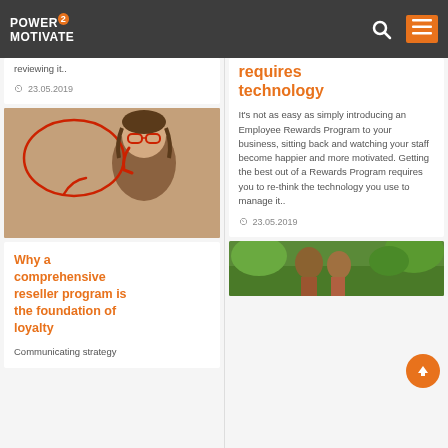POWER 2 MOTIVATE
reviewing it..
23.05.2019
[Figure (photo): Child with red glasses and red telephone handset, with a hand-drawn speech bubble in red]
Why a comprehensive reseller program is the foundation of loyalty
Communicating strategy
requires technology
It's not as easy as simply introducing an Employee Rewards Program to your business, sitting back and watching your staff become happier and more motivated. Getting the best out of a Rewards Program requires you to re-think the technology you use to manage it..
23.05.2019
[Figure (photo): Partial view of outdoor scene with children, green natural background]